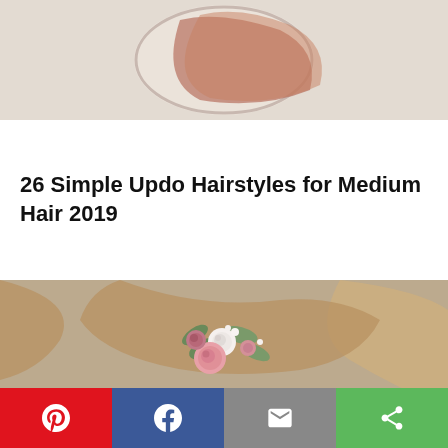[Figure (photo): Cropped top portion of a hairstyle photo, showing a person with an updo hairstyle against a light background]
26 Simple Updo Hairstyles for Medium Hair 2019
[Figure (photo): Woman seen from behind with a braided updo hairstyle decorated with pink, white, and mauve flowers with green leaves]
[Figure (infographic): Social sharing bar with Pinterest (red), Facebook (blue), Email (grey), and Share (green) buttons]